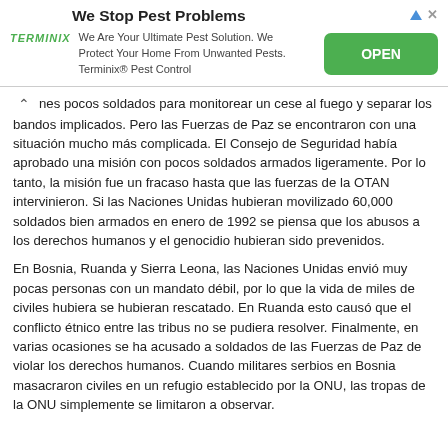[Figure (other): Advertisement banner for Terminix pest control with title 'We Stop Pest Problems', Terminix logo, descriptive text, and green OPEN button]
nes pocos soldados para monitorear un cese al fuego y separar los bandos implicados. Pero las Fuerzas de Paz se encontraron con una situación mucho más complicada. El Consejo de Seguridad había aprobado una misión con pocos soldados armados ligeramente. Por lo tanto, la misión fue un fracaso hasta que las fuerzas de la OTAN intervinieron. Si las Naciones Unidas hubieran movilizado 60,000 soldados bien armados en enero de 1992 se piensa que los abusos a los derechos humanos y el genocidio hubieran sido prevenidos.
En Bosnia, Ruanda y Sierra Leona, las Naciones Unidas envió muy pocas personas con un mandato débil, por lo que la vida de miles de civiles hubiera se hubieran rescatado. En Ruanda esto causó que el conflicto étnico entre las tribus no se pudiera resolver. Finalmente, en varias ocasiones se ha acusado a soldados de las Fuerzas de Paz de violar los derechos humanos. Cuando militares serbios en Bosnia masacraron civiles en un refugio establecido por la ONU, las tropas de la ONU simplemente se limitaron a observar.